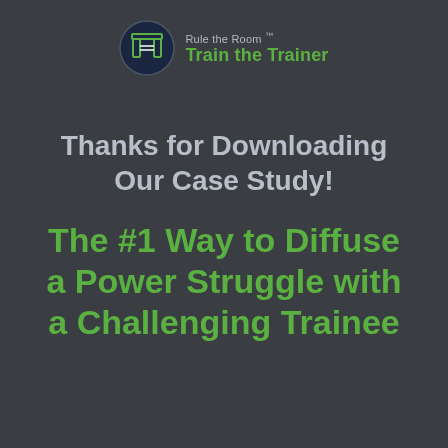[Figure (logo): Rule the Room Train the Trainer logo: circular dark navy emblem with stylized T icon in green and white, next to text 'Rule the Room Train the Trainer']
Thanks for Downloading Our Case Study!
The #1 Way to Diffuse a Power Struggle with a Challenging Trainee